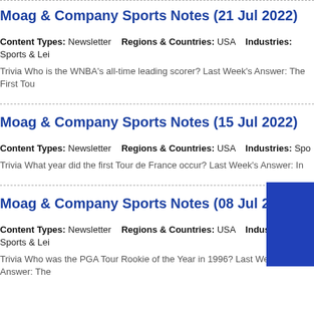Moag & Company Sports Notes (21 Jul 2022)
Content Types: Newsletter   Regions & Countries: USA   Industries: Sports & Lei
Trivia Who is the WNBA's all-time leading scorer? Last Week's Answer: The First Tou
Moag & Company Sports Notes (15 Jul 2022)
Content Types: Newsletter   Regions & Countries: USA   Industries: Spo
Trivia What year did the first Tour de France occur? Last Week's Answer: In
Moag & Company Sports Notes (08 Jul 2022)
Content Types: Newsletter   Regions & Countries: USA   Industries: Sports & Lei
Trivia Who was the PGA Tour Rookie of the Year in 1996? Last Week's Answer: The